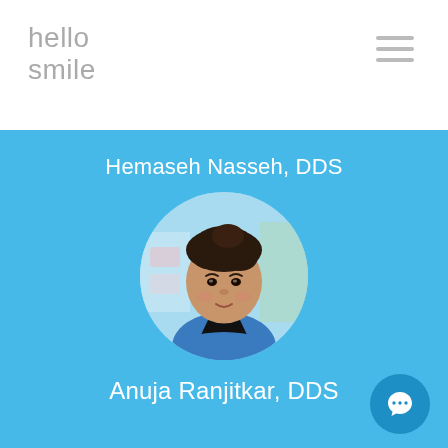hello smile
Hemaseh Nasseh, DDS
[Figure (photo): Circular portrait photo of Anuja Ranjitkar, DDS, a female dentist wearing blue scrubs, dark hair up, smiling, set against a light blue background.]
Anuja Ranjitkar, DDS